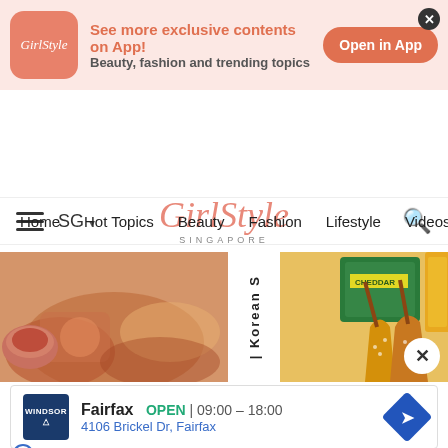[Figure (screenshot): GirlStyle app promotional banner with pink background, app icon, text 'See more exclusive contents on App! Beauty, fashion and trending topics', and 'Open in App' button]
GirlStyle Singapore — Singapore's No.1 Female Lifestyle & Beauty Media
Home  Hot Topics  Beauty  Fashion  Lifestyle  Videos  Hot G
[Figure (photo): Two food photos side by side with text '| Korean S' vertically in between, showing Korean food dishes]
Fairfax  OPEN | 09:00 – 18:00
4106 Brickel Dr, Fairfax